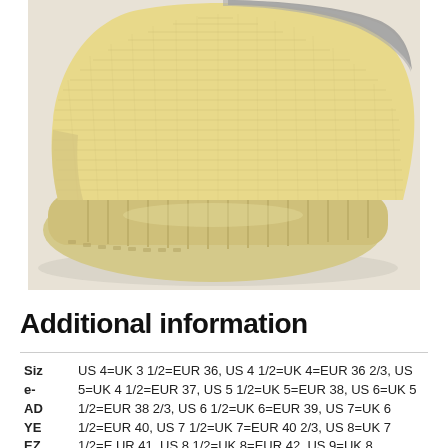[Figure (photo): Close-up photo of a Yeezy Boost 350 V2 sneaker in a pale yellow/cream colorway with gray stripe on upper and matching yellow sole, photographed from behind/heel angle on white background]
Additional information
| Size-AD-YEEZY | Size values |
| --- | --- |
| Siz e- AD YE EZ Y | US 4=UK 3 1/2=EUR 36, US 4 1/2=UK 4=EUR 36 2/3, US 5=UK 4 1/2=EUR 37, US 5 1/2=UK 5=EUR 38, US 6=UK 5 1/2=EUR 38 2/3, US 6 1/2=UK 6=EUR 39, US 7=UK 6 1/2=EUR 40, US 7 1/2=UK 7=EUR 40 2/3, US 8=UK 7 1/2=EUR 41, US 8 1/2=UK 8=EUR 42, US 9=UK 8 1/2=EUR 42 2/3, US 9 1/2=UK 9=EUR 43, US 10=UK 9 1/2=EUR 44... |